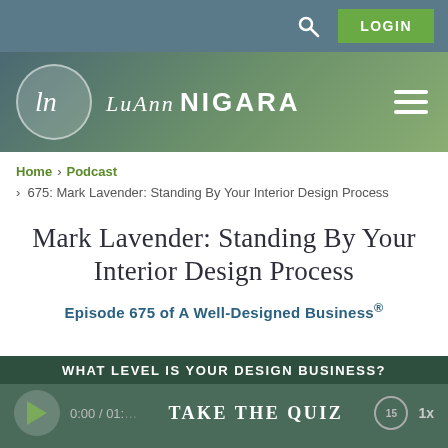LOGIN
[Figure (logo): LuAnn Nigara website logo with circular script emblem and text 'LuAnn NIGARA' on green gradient header]
Home > Podcast > 675: Mark Lavender: Standing By Your Interior Design Process
Mark Lavender: Standing By Your Interior Design Process
Episode 675 of A Well-Designed Business®
[Figure (screenshot): Audio player bar with quiz overlay: 'WHAT LEVEL IS YOUR DESIGN BUSINESS?' and 'TAKE THE QUIZ', showing 0:00 / 01:... time, play button, 15s back button, 1x speed]